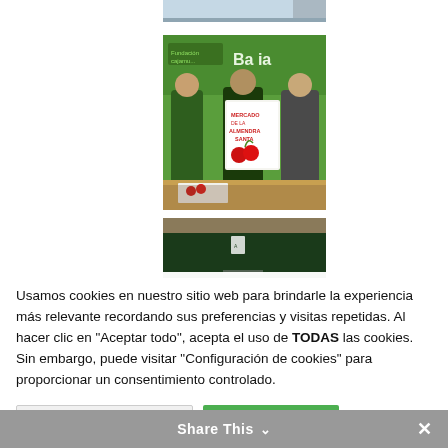[Figure (photo): Partial view of a photo at top, cropped, showing a light blue/grey background with some text or graphic.]
[Figure (photo): Three men standing in front of a green Fundación Cajamurcia / Banca backdrop, holding a promotional poster for 'Mercado de la Almendra Santa']
[Figure (photo): Partial view of a third photo below, showing a dark green/brown banner or signage, partially cropped.]
Usamos cookies en nuestro sitio web para brindarle la experiencia más relevante recordando sus preferencias y visitas repetidas. Al hacer clic en "Aceptar todo", acepta el uso de TODAS las cookies. Sin embargo, puede visitar "Configuración de cookies" para proporcionar un consentimiento controlado.
Preferencias de cookies
Aceptar todo
Share This ∨  ×